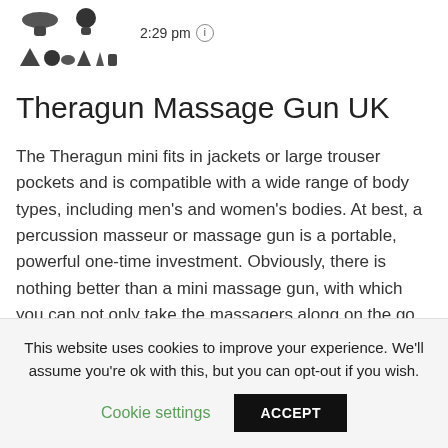[Figure (illustration): Product icons/attachments for a massage gun device, shown in two rows — top row has a large round attachment and a ball-shaped attachment; bottom row shows several smaller attachments of various shapes.]
2:29 pm
Theragun Massage Gun UK
The Theragun mini fits in jackets or large trouser pockets and is compatible with a wide range of body types, including men's and women's bodies. At best, a percussion masseur or massage gun is a portable, powerful one-time investment. Obviously, there is nothing better than a mini massage gun, with which you can not only take the massagers along on the go, but
This website uses cookies to improve your experience. We'll assume you're ok with this, but you can opt-out if you wish. Cookie settings ACCEPT